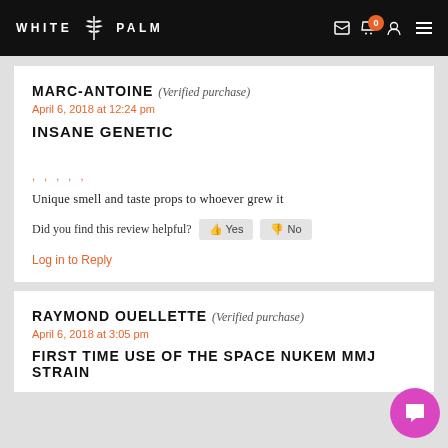WHITE PALM
MARC-ANTOINE (Verified purchase)
April 6, 2018 at 12:24 pm
INSANE GENETIC
Unique smell and taste props to whoever grew it
Did you find this review helpful? Yes No
Log in to Reply
RAYMOND OUELLETTE (Verified purchase)
April 6, 2018 at 3:05 pm
FIRST TIME USE OF THE SPACE NUKEM MMJ STRAIN